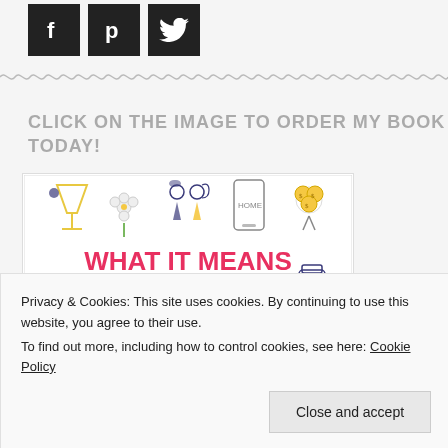[Figure (illustration): Social media icons: Facebook, Pinterest, Twitter — white icons on black square backgrounds]
[Figure (illustration): Wavy/zigzag decorative divider line in gray]
CLICK ON THE IMAGE TO ORDER MY BOOK TODAY!
[Figure (illustration): Book cover illustration with colorful icons (cocktail glass, flower, couple, phone, coins, arrow-heart) and red text reading WHAT IT MEANS TO BE A...]
Privacy & Cookies: This site uses cookies. By continuing to use this website, you agree to their use.
To find out more, including how to control cookies, see here: Cookie Policy
Close and accept